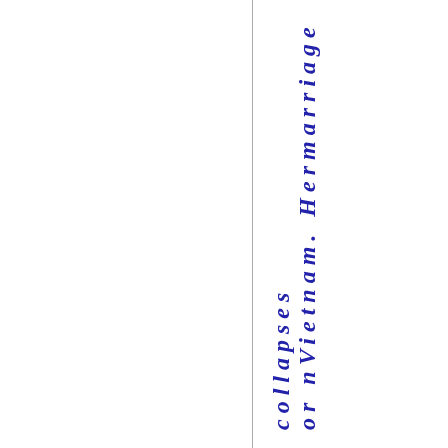or nVietnam. Hermarriage collapses